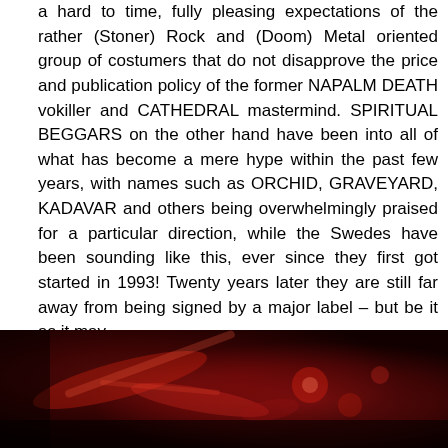a hard to time, fully pleasing expectations of the rather (Stoner) Rock and (Doom) Metal oriented group of costumers that do not disapprove the price and publication policy of the former NAPALM DEATH vokiller and CATHEDRAL mastermind. SPIRITUAL BEGGARS on the other hand have been into all of what has become a mere hype within the past few years, with names such as ORCHID, GRAVEYARD, KADAVAR and others being overwhelmingly praised for a particular direction, while the Swedes have been sounding like this, ever since they first got started in 1993! Twenty years later they are still far away from being signed by a major label – but be it as it may…
[Figure (photo): Dark red-tinted photo of musical instruments, likely guitar or bass hardware, in low red lighting]